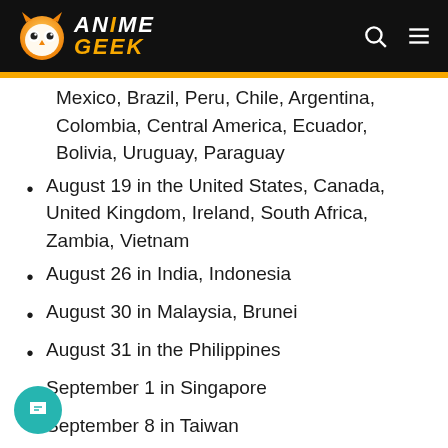Anime Geek
Mexico, Brazil, Peru, Chile, Argentina, Colombia, Central America, Ecuador, Bolivia, Uruguay, Paraguay
August 19 in the United States, Canada, United Kingdom, Ireland, South Africa, Zambia, Vietnam
August 26 in India, Indonesia
August 30 in Malaysia, Brunei
August 31 in the Philippines
September 1 in Singapore
September 8 in Taiwan
September 15 in South Korea
September 29 in Thailand, Hong Kong, Macao